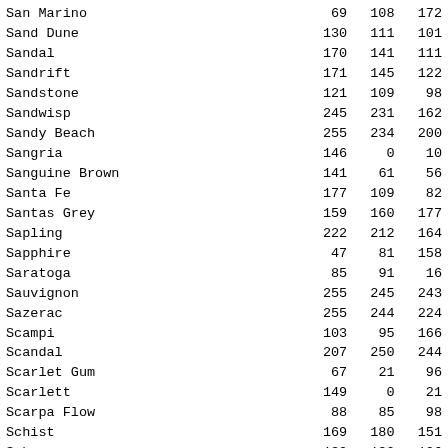| Color Name | R | G | B |
| --- | --- | --- | --- |
| San Marino | 69 | 108 | 172 |
| Sand Dune | 130 | 111 | 101 |
| Sandal | 170 | 141 | 111 |
| Sandrift | 171 | 145 | 122 |
| Sandstone | 121 | 109 | 98 |
| Sandwisp | 245 | 231 | 162 |
| Sandy Beach | 255 | 234 | 200 |
| Sangria | 146 | 0 | 10 |
| Sanguine Brown | 141 | 61 | 56 |
| Santa Fe | 177 | 109 | 82 |
| Santas Grey | 159 | 160 | 177 |
| Sapling | 222 | 212 | 164 |
| Sapphire | 47 | 81 | 158 |
| Saratoga | 85 | 91 | 16 |
| Sauvignon | 255 | 245 | 243 |
| Sazerac | 255 | 244 | 224 |
| Scampi | 103 | 95 | 166 |
| Scandal | 207 | 250 | 244 |
| Scarlet Gum | 67 | 21 | 96 |
| Scarlett | 149 | 0 | 21 |
| Scarpa Flow | 88 | 85 | 98 |
| Schist | 169 | 180 | 151 |
| Schooner | 139 | 132 | 126 |
| Scooter | 46 | 191 | 212 |
| Scorpion | 105 | 95 | 98 |
| Scotch Mist | 255 | 251 | 220 |
| Scrub | 46 | 50 | 34 |